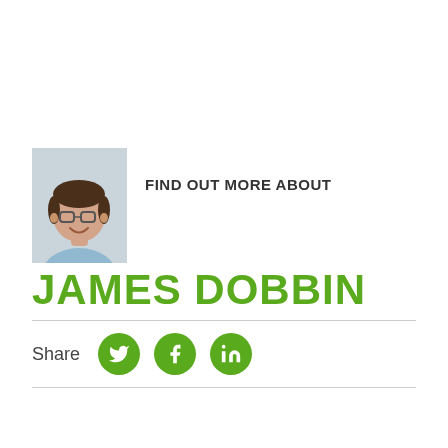[Figure (photo): Headshot photo of James Dobbin, a man with dark hair and glasses wearing a light blue shirt, smiling]
FIND OUT MORE ABOUT
JAMES DOBBIN
Share
[Figure (illustration): Twitter bird icon in white on green circle]
[Figure (illustration): Facebook f icon in white on green circle]
[Figure (illustration): LinkedIn in icon in white on green circle]